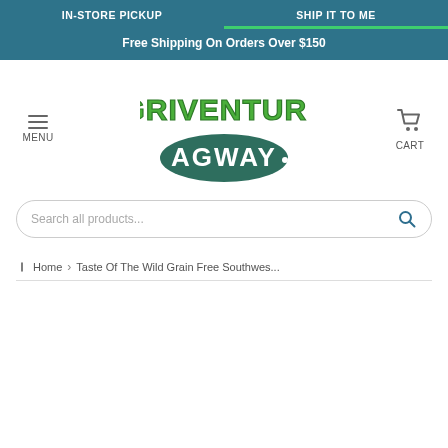IN-STORE PICKUP | SHIP IT TO ME
Free Shipping On Orders Over $150
[Figure (logo): Agriventures Agway logo — green text 'AGRIVENTURES' above a dark teal oval with white text 'AGWAY.']
MENU
CART
Search all products...
Home › Taste Of The Wild Grain Free Southwes...